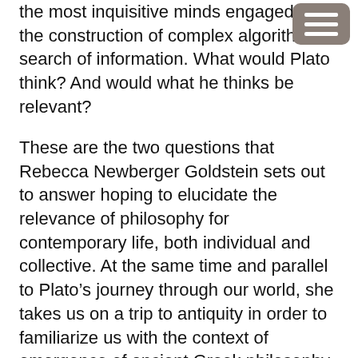the most inquisitive minds engaged in the construction of complex algorithms in search of information. What would Plato think? And would what he thinks be relevant?
These are the two questions that Rebecca Newberger Goldstein sets out to answer hoping to elucidate the relevance of philosophy for contemporary life, both individual and collective. At the same time and parallel to Plato’s journey through our world, she takes us on a trip to antiquity in order to familiarize us with the context of emergence of ancient Greek philosophy and how that influenced its contents.
True to Plato’s method, his journey is told in the form of dialogues, mostly open-ended, as there never can be a definite yes or no when it comes to truth. By contrast, the chapters on the antiquity are told in scientific prose with extensive excursions into Plato’s famous dialogues such